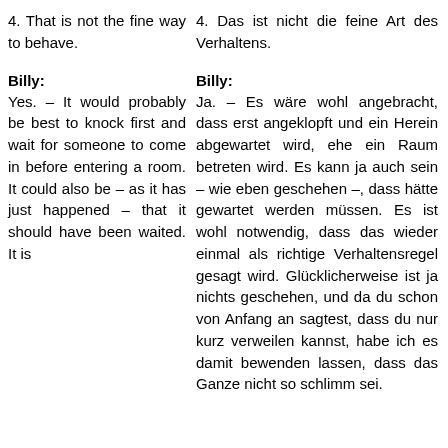4. That is not the fine way to behave.
4. Das ist nicht die feine Art des Verhaltens.
Billy:
Billy:
Yes. – It would probably be best to knock first and wait for someone to come in before entering a room. It could also be – as it has just happened – that it should have been waited. It is
Ja. – Es wäre wohl angebracht, dass erst angeklopft und ein Herein abgewartet wird, ehe ein Raum betreten wird. Es kann ja auch sein – wie eben geschehen –, dass hätte gewartet werden müssen. Es ist wohl notwendig, dass das wieder einmal als richtige Verhaltensregel gesagt wird. Glücklicherweise ist ja nichts geschehen, und da du schon von Anfang an sagtest, dass du nur kurz verweilen kannst, habe ich es damit bewenden lassen, dass das Ganze nicht so schlimm sei.